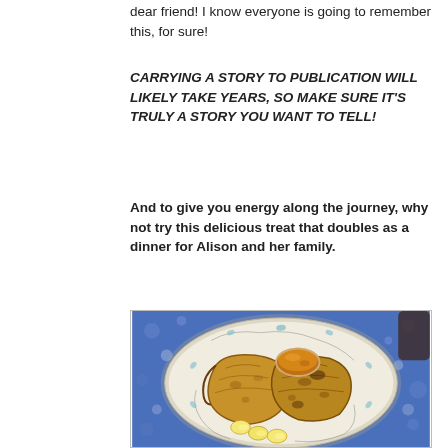dear friend! I know everyone is going to remember this, for sure!
CARRYING A STORY TO PUBLICATION WILL LIKELY TAKE YEARS, SO MAKE SURE IT'S TRULY A STORY YOU WANT TO TELL!
And to give you energy along the journey, why not try this delicious treat that doubles as a dinner for Alison and her family.
[Figure (photo): A decorative white plate with tree branch and leaf motifs around the rim, containing two slices of French toast alongside sliced bananas, with a small bowl of maple syrup on the plate. The plate sits on a blue floral tablecloth.]